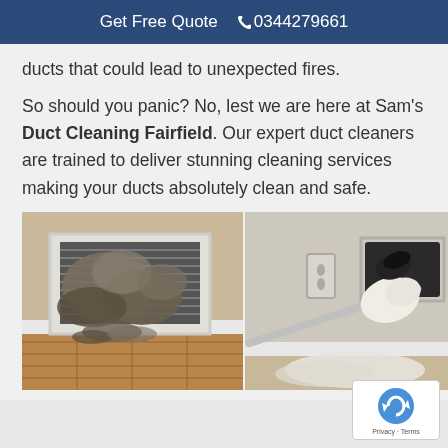Get Free Quote  📞 0344279661
ducts that could lead to unexpected fires.
So should you panic? No, lest we are here at Sam's Duct Cleaning Fairfield. Our expert duct cleaners are trained to deliver stunning cleaning services making your ducts absolutely clean and safe.
[Figure (photo): Two side-by-side photos: left shows a very dirty, dusty air duct vent register removed from the wall revealing heavy dust buildup; right shows a gloved hand using a brush tool to clean a duct opening in a wall.]
Privacy · Terms